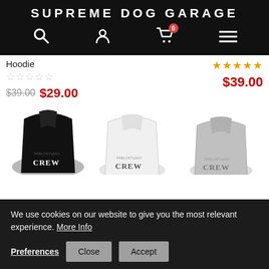SUPREME DOG GARAGE
Hoodie
★★★★★ (empty stars)
$39.00 $29.00
★★★★★ (filled) $39.00
[Figure (photo): Three dog hoodies in black, white, and gray with CREW text on the back]
We use cookies on our website to give you the most relevant experience. More Info
Preferences  Close  Accept